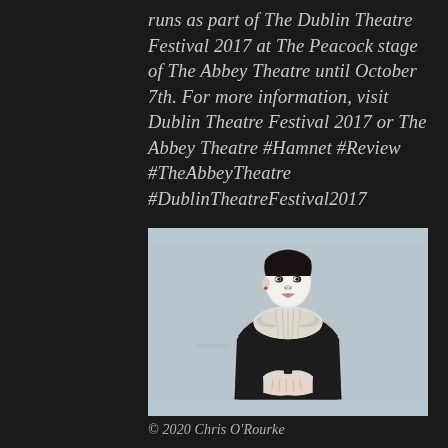runs as part of The Dublin Theatre Festival 2017 at The Peacock stage of The Abbey Theatre until October 7th. For more information, visit Dublin Theatre Festival 2017 or The Abbey Theatre #Hamnet #Review #TheAbbeyTheatre #DublinTheatreFestival2017
[Figure (photo): A child actor in theatrical costume — white face paint, a large ruffled white collar, and a dark (black) period-style coat, with hands clasped at the waist, against a pale blue-grey background. The image appears to be a production photo from Hamnet at The Abbey Theatre.]
© 2020 Chris O'Rourke